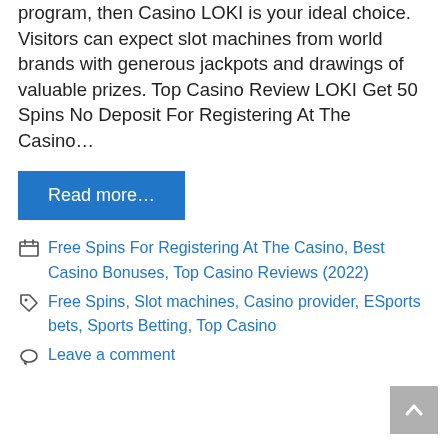program, then Casino LOKI is your ideal choice. Visitors can expect slot machines from world brands with generous jackpots and drawings of valuable prizes. Top Casino Review LOKI Get 50 Spins No Deposit For Registering At The Casino…
Read more…
Free Spins For Registering At The Casino, Best Casino Bonuses, Top Casino Reviews (2022)
Free Spins, Slot machines, Casino provider, ESports bets, Sports Betting, Top Casino
Leave a comment